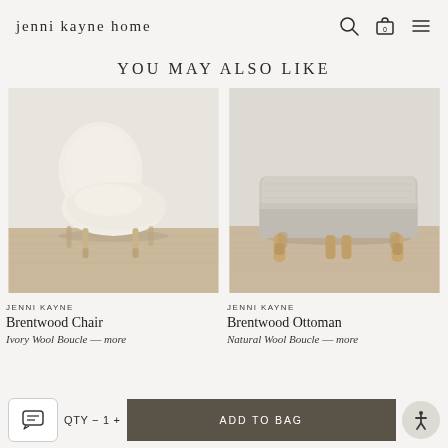jenni kayne home
YOU MAY ALSO LIKE
[Figure (photo): Brentwood Chair in ivory wool boucle fabric on light wood legs, photographed in a minimal room with light wood flooring]
JENNI KAYNE
Brentwood Chair
Ivory Wool Boucle — more
[Figure (photo): Brentwood Ottoman in natural wool boucle fabric on light wood legs, photographed on light wood flooring]
JENNI KAYNE
Brentwood Ottoman
Natural Wool Boucle — more
QTY − 1 +
ADD TO BAG